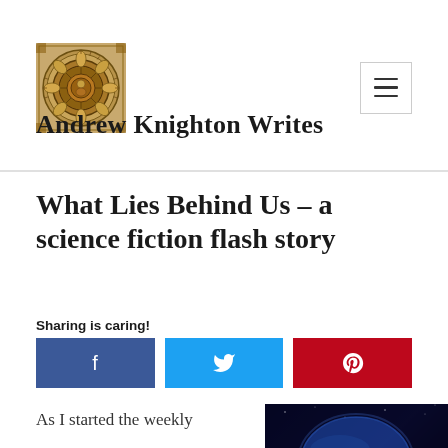[Figure (illustration): Ornamental circular mandala/clock illustration used as site logo, with golden browns and intricate patterns]
Andrew Knighton Writes
What Lies Behind Us – a science fiction flash story
Sharing is caring!
[Figure (infographic): Social sharing buttons: Facebook (blue), Twitter (cyan), Pinterest (red) each with respective icons]
As I started the weekly
[Figure (photo): Dark blue space/night sky image partial view at bottom right]